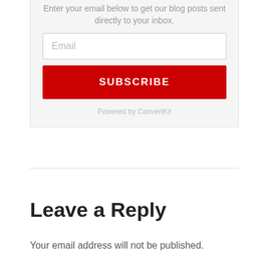Enter your email below to get our blog posts sent directly to your inbox.
Email
SUBSCRIBE
Powered by ConvertKit
Leave a Reply
Your email address will not be published.